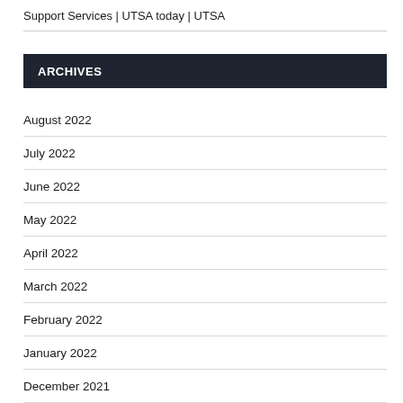Support Services | UTSA today | UTSA
ARCHIVES
August 2022
July 2022
June 2022
May 2022
April 2022
March 2022
February 2022
January 2022
December 2021